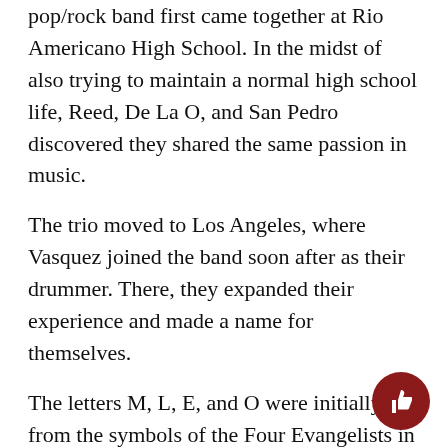pop/rock band first came together at Rio Americano High School. In the midst of also trying to maintain a normal high school life, Reed, De La O, and San Pedro discovered they shared the same passion in music.
The trio moved to Los Angeles, where Vasquez joined the band soon after as their drummer. There, they expanded their experience and made a name for themselves.
The letters M, L, E, and O were initially from the symbols of the Four Evangelists in the Bible: man, lion, eagle, and ox. Aside from being the main vocalist and having a love for music, Reed is also a graphic designer and created the logo of the band.
“I wanted a name that would actually look good as well as sound good,” she said.
Reed had already written her own songs, in hopes t…